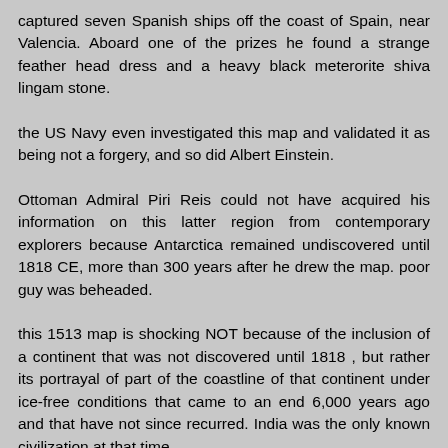captured seven Spanish ships off the coast of Spain, near Valencia. Aboard one of the prizes he found a strange feather head dress and a heavy black meterorite shiva lingam stone.
the US Navy even investigated this map and validated it as being not a forgery, and so did Albert Einstein.
Ottoman Admiral Piri Reis could not have acquired his information on this latter region from contemporary explorers because Antarctica remained undiscovered until 1818 CE, more than 300 years after he drew the map. poor guy was beheaded.
this 1513 map is shocking NOT because of the inclusion of a continent that was not discovered until 1818 , but rather its portrayal of part of the coastline of that continent under ice-free conditions that came to an end 6,000 years ago and that have not since recurred. India was the only known civilization at that time.
this made it 100% clear that this planet had been